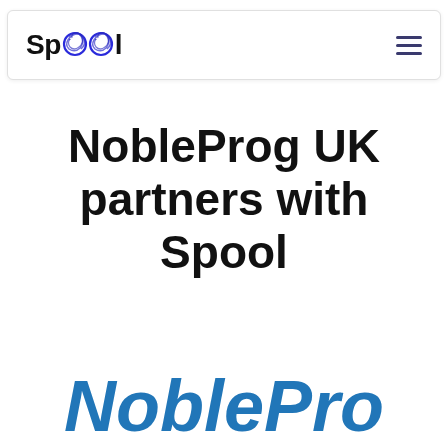[Figure (logo): Spool logo with hamburger menu navigation bar. 'Spool' text with two blue scribbled circle characters for the two 'o' letters, and a hamburger menu icon on the right.]
NobleProg UK partners with Spool
[Figure (logo): NobleProg logo in bold blue italic text, partially visible at bottom of page, reading 'NoblePro...']